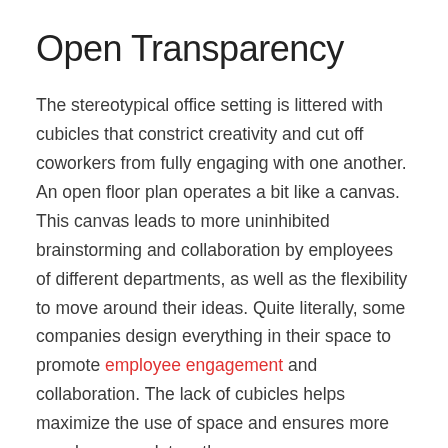Open Transparency
The stereotypical office setting is littered with cubicles that constrict creativity and cut off coworkers from fully engaging with one another. An open floor plan operates a bit like a canvas. This canvas leads to more uninhibited brainstorming and collaboration by employees of different departments, as well as the flexibility to move around their ideas. Quite literally, some companies design everything in their space to promote employee engagement and collaboration. The lack of cubicles helps maximize the use of space and ensures more people can work together.